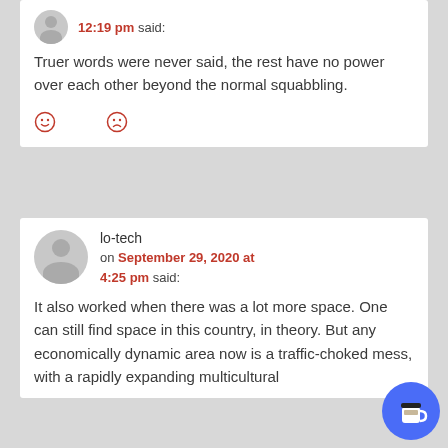12:19 pm said:
Truer words were never said, the rest have no power over each other beyond the normal squabbling.
[Figure (other): Two reaction emoji icons: smiley face and sad face in red outlines]
lo-tech
on September 29, 2020 at 4:25 pm said:
It also worked when there was a lot more space. One can still find space in this country, in theory. But any economically dynamic area now is a traffic-choked mess, with a rapidly expanding multicultural
[Figure (illustration): Buy me a coffee circular button with coffee cup icon in blue/purple]